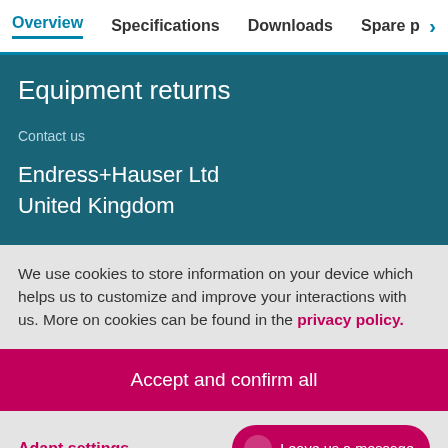Overview  Specifications  Downloads  Spare p >
Equipment returns
Contact us
Endress+Hauser Ltd
United Kingdom
We use cookies to store information on your device which helps us to customize and improve your interactions with us. More on cookies can be found in the privacy policy.
Accept and confirm all
Adapt settings
Leave us a message